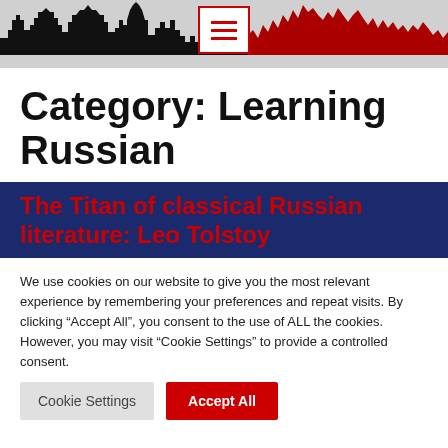[Figure (illustration): Website header banner with black city skyline silhouette on the left, red jagged mountain/city silhouette on the right, gray background, and a hamburger menu button (three red lines in a white box with red border) centered in the middle.]
Category: Learning Russian
The Titan of classical Russian literature: Leo Tolstoy
We use cookies on our website to give you the most relevant experience by remembering your preferences and repeat visits. By clicking “Accept All”, you consent to the use of ALL the cookies. However, you may visit “Cookie Settings” to provide a controlled consent.
Cookie Settings | Accept All